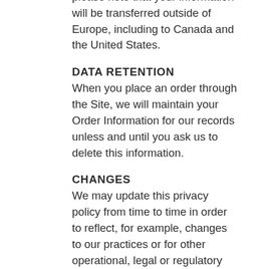please note that your information will be transferred outside of Europe, including to Canada and the United States.
DATA RETENTION
When you place an order through the Site, we will maintain your Order Information for our records unless and until you ask us to delete this information.
CHANGES
We may update this privacy policy from time to time in order to reflect, for example, changes to our practices or for other operational, legal or regulatory reasons.
CONTACT US
For more information about our privacy practices, if you have questions, or if you would like to make a complaint, please use our contact form or send us an email at info@americanwolves.com.